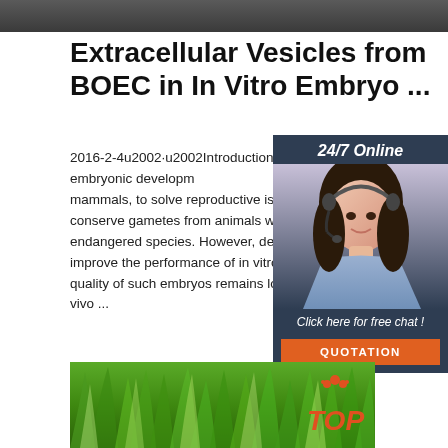[Figure (photo): Dark gray banner image at top of page]
Extracellular Vesicles from BOEC in In Vitro Embryo ...
2016-2-4u2002·u2002Introduction. In vitro embryo production is a useful tool to study early embryonic development in mammals, to solve reproductive issues in humans, to conserve gametes from animals with high genetic value or endangered species. However, despite scientific efforts to improve the performance of in vitro production systems, quality of such embryos remains lower than those produced in vivo ...
[Figure (screenshot): 24/7 Online chat widget with woman wearing headset, dark blue background, orange quotation button]
[Figure (photo): Green grass/plant foliage photo at bottom with TOP logo overlay]